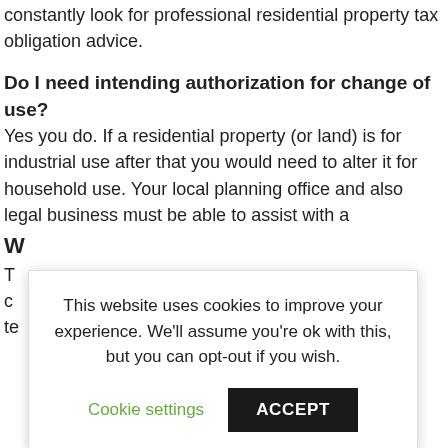constantly look for professional residential property tax obligation advice.
Do I need intending authorization for change of use?
Yes you do. If a residential property (or land) is for industrial use after that you would need to alter it for household use. Your local planning office and also legal business must be able to assist with a
W
T
c
te
commercial property subsidence.
[Figure (screenshot): Cookie consent popup overlay with message 'This website uses cookies to improve your experience. We'll assume you're ok with this, but you can opt-out if you wish.' with Cookie settings and ACCEPT buttons.]
Exist any kind of restrictions for renovating a Provided Home?
Detailed homes have great deals of constraints for renovations, such as materials utilized and what you need to preserve. When checking out renovating a Provided residential property you have to initially discuss your strategies with with your neighborhood